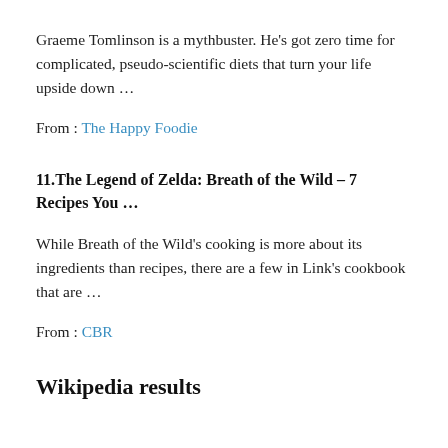Graeme Tomlinson is a mythbuster. He's got zero time for complicated, pseudo-scientific diets that turn your life upside down …
From : The Happy Foodie
11. The Legend of Zelda: Breath of the Wild – 7 Recipes You …
While Breath of the Wild's cooking is more about its ingredients than recipes, there are a few in Link's cookbook that are …
From : CBR
Wikipedia results